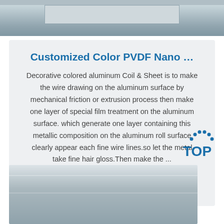[Figure (photo): Top cropped photo showing aluminum coil or sheet material on an industrial floor]
Customized Color PVDF Nano …
Decorative colored aluminum Coil & Sheet is to make the wire drawing on the aluminum surface by mechanical friction or extrusion process then make one layer of special film treatment on the aluminum surface. which generate one layer containing this metallic composition on the aluminum roll surface clearly appear each fine wire lines.so let the metal take fine hair gloss.Then make the ...
Get Price
[Figure (logo): TOP logo with blue dots arranged in arc above the letters TOP in blue]
[Figure (photo): Bottom photo showing interior of an industrial factory or warehouse with aluminum coils/sheets]